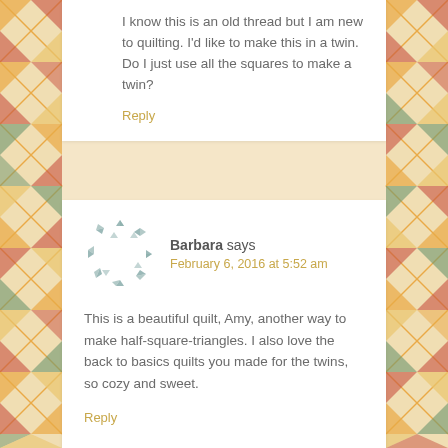I know this is an old thread but I am new to quilting. I'd like to make this in a twin. Do I just use all the squares to make a twin?
Reply
[Figure (illustration): Circular avatar made of small grey triangle shapes arranged in a ring pattern]
Barbara says
February 6, 2016 at 5:52 am
This is a beautiful quilt, Amy, another way to make half-square-triangles. I also love the back to basics quilts you made for the twins, so cozy and sweet.
Reply